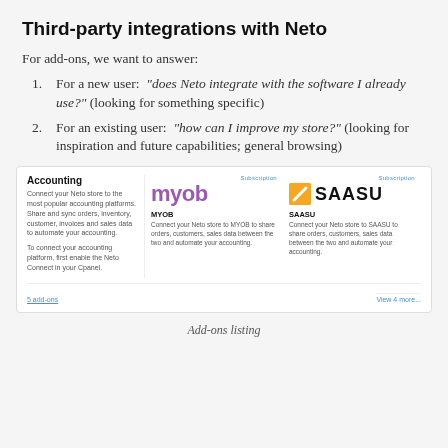Third-party integrations with Neto
For add-ons, we want to answer:
For a new user: "does Neto integrate with the software I already use?" (looking for something specific)
For an existing user: "how can I improve my store?" (looking for inspiration and future capabilities; general browsing)
[Figure (screenshot): Accounting add-ons listing card showing MYOB and SAASU integrations with subscription labels, logos, product names, and descriptions. Footer shows '5 add-ons' link and 'View 4 more...' link.]
Add-ons listing